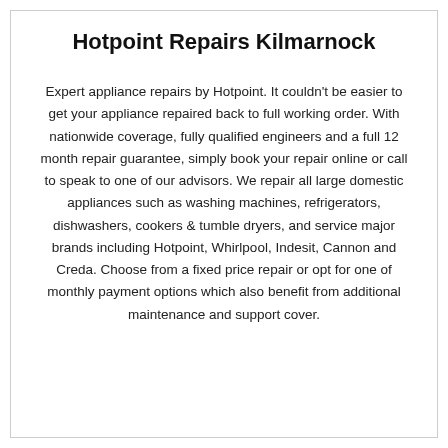Hotpoint Repairs Kilmarnock
Expert appliance repairs by Hotpoint. It couldn't be easier to get your appliance repaired back to full working order. With nationwide coverage, fully qualified engineers and a full 12 month repair guarantee, simply book your repair online or call to speak to one of our advisors. We repair all large domestic appliances such as washing machines, refrigerators, dishwashers, cookers & tumble dryers, and service major brands including Hotpoint, Whirlpool, Indesit, Cannon and Creda. Choose from a fixed price repair or opt for one of monthly payment options which also benefit from additional maintenance and support cover.